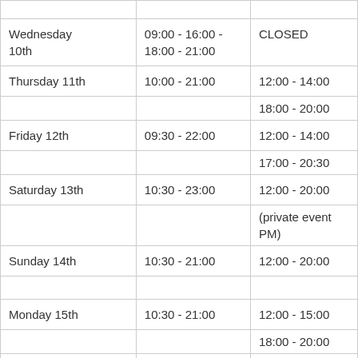| Wednesday 10th | 09:00 - 16:00 - 18:00 - 21:00 | CLOSED |
| Thursday 11th | 10:00 - 21:00 | 12:00 - 14:00
18:00 - 20:00 |
| Friday 12th | 09:30 - 22:00 | 12:00 - 14:00
17:00 - 20:30 |
| Saturday 13th | 10:30 - 23:00 | 12:00 - 20:00
(private event PM) |
| Sunday 14th | 10:30 - 21:00 | 12:00 - 20:00 |
| Monday 15th | 10:30 - 21:00 | 12:00 - 15:00
18:00 - 20:00 |
| Tuesday 16th | 10:30 - 21:00 | 12:00 - 14:30 |
| Wednesday 17th | 11:00 - 21:00 | 15:00 - 20:30 |